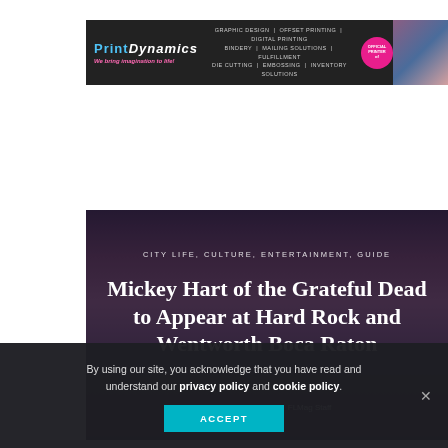[Figure (illustration): PrintDynamics banner advertisement with dark background, logo on left, services list in center, pink official printer badge, and colorful photos on right]
[Figure (photo): Article hero image with blurred dark background showing a person surrounded by colorful blurred lights, overlaid with article category tags and title text]
CITY LIFE, CULTURE, ENTERTAINMENT, GUIDE
Mickey Hart of the Grateful Dead to Appear at Hard Rock and Wentworth Boca Raton
November 12, 2019 · FLMag Staff
By using our site, you acknowledge that you have read and understand our privacy policy and cookie policy.
ACCEPT